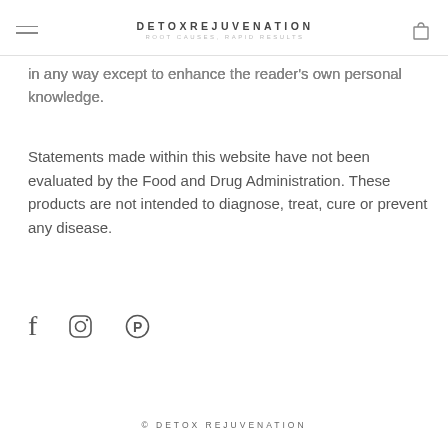DETOX REJUVENATION — ROOT CAUSES, RAPID RESULTS
in any way except to enhance the reader's own personal knowledge.
Statements made within this website have not been evaluated by the Food and Drug Administration. These products are not intended to diagnose, treat, cure or prevent any disease.
[Figure (other): Social media icons: Facebook (f), Instagram (circle camera), Pinterest (P in circle)]
© DETOX REJUVENATION